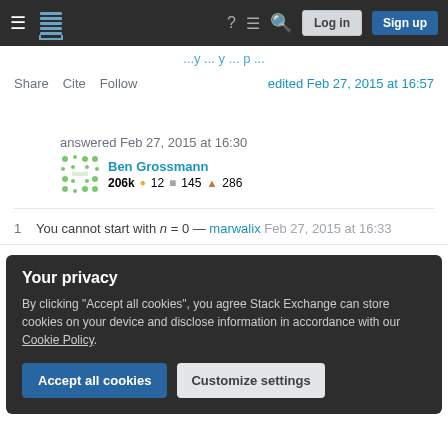Stack Exchange navigation bar with Log in and Sign up buttons
edited Feb 27, 2015 at 16:57
Share Cite Follow
answered Feb 27, 2015 at 16:30
Ben Grossmann 206k 12 145 286
1 You cannot start with n = 0 — marwalix Feb 27, 2015 at 16:33
Your privacy
By clicking "Accept all cookies", you agree Stack Exchange can store cookies on your device and disclose information in accordance with our Cookie Policy.
Accept all cookies   Customize settings